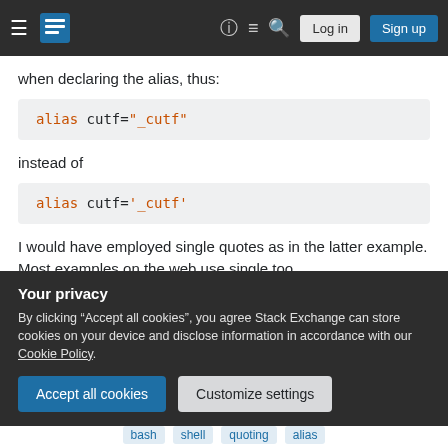Stack Exchange navigation bar with Log in and Sign up buttons
when declaring the alias, thus:
alias cutf="_cutf"
instead of
alias cutf='_cutf'
I would have employed single quotes as in the latter example. Most examples on the web use single too,
Your privacy
By clicking “Accept all cookies”, you agree Stack Exchange can store cookies on your device and disclose information in accordance with our Cookie Policy.
Accept all cookies   Customize settings
bash shell quoting alias